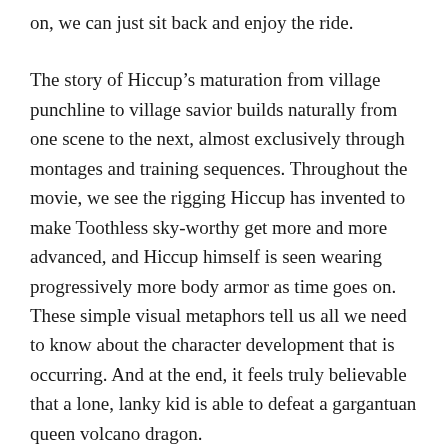on, we can just sit back and enjoy the ride.
The story of Hiccup's maturation from village punchline to village savior builds naturally from one scene to the next, almost exclusively through montages and training sequences. Throughout the movie, we see the rigging Hiccup has invented to make Toothless sky-worthy get more and more advanced, and Hiccup himself is seen wearing progressively more body armor as time goes on. These simple visual metaphors tell us all we need to know about the character development that is occurring. And at the end, it feels truly believable that a lone, lanky kid is able to defeat a gargantuan queen volcano dragon.
Similarly, the movie itself is a extraordinary triumph over evil. An honest-to-goodness adventure movie that excels on its own merits successfully